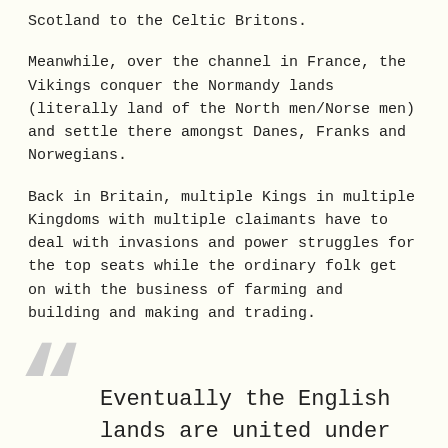Scotland to the Celtic Britons.
Meanwhile, over the channel in France, the Vikings conquer the Normandy lands (literally land of the North men/Norse men) and settle there amongst Danes, Franks and Norwegians.
Back in Britain, multiple Kings in multiple Kingdoms with multiple claimants have to deal with invasions and power struggles for the top seats while the ordinary folk get on with the business of farming and building and making and trading.
Eventually the English lands are united under